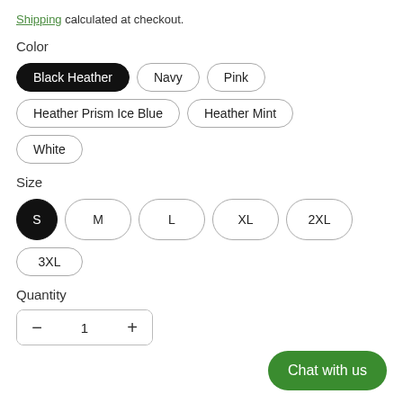Shipping calculated at checkout.
Color
Black Heather (selected)
Navy
Pink
Heather Prism Ice Blue
Heather Mint
White
Size
S (selected)
M
L
XL
2XL
3XL
Quantity
1
Chat with us